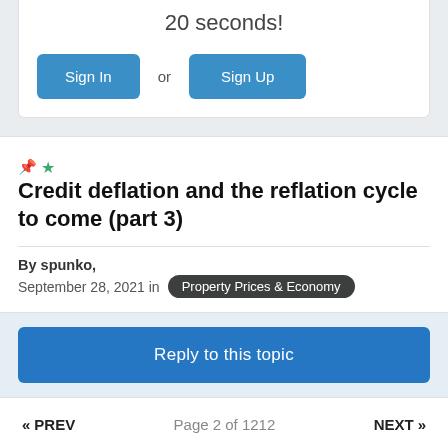20 seconds!
Sign In or Sign Up
Credit deflation and the reflation cycle to come (part 3)
By spunko,
September 28, 2021 in Property Prices & Economy
Reply to this topic
« PREV   Page 2 of 1212   NEXT »